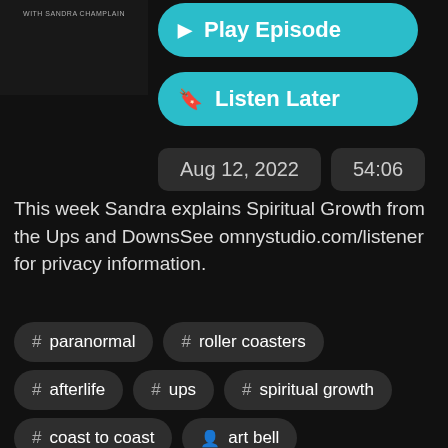[Figure (photo): Podcast thumbnail image with text 'WITH SANDRA CHAMPLAIN' on dark background]
▶ Play Episode
🔖 Listen Later
Aug 12, 2022    54:06
This week Sandra explains Spiritual Growth from the Ups and DownsSee omnystudio.com/listener for privacy information.
# paranormal
# roller coasters
# afterlife
# ups
# spiritual growth
# coast to coast
👤 art bell